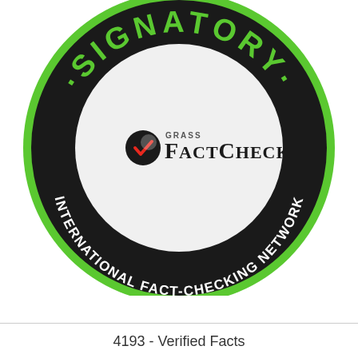[Figure (logo): Circular badge with green background. Outer black ring with green text 'SIGNATORY' arched at top and 'INTERNATIONAL FACT-CHECKING NETWORK' arched at bottom. Inner white circle contains the Grass FactCheck logo — a black circle with red/white checkmark icon and the text 'GRASS FACTCHECK'.]
4193 - Verified Facts